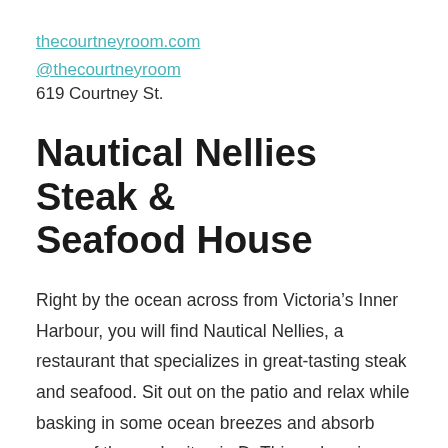thecourtneyroom.com
@thecourtneyroom
619 Courtney St.
Nautical Nellies Steak & Seafood House
Right by the ocean across from Victoria’s Inner Harbour, you will find Nautical Nellies, a restaurant that specializes in great-tasting steak and seafood. Sit out on the patio and relax while basking in some ocean breezes and absorb some of the sun’s vitamin D. This welcoming and friendly restaurant offers a